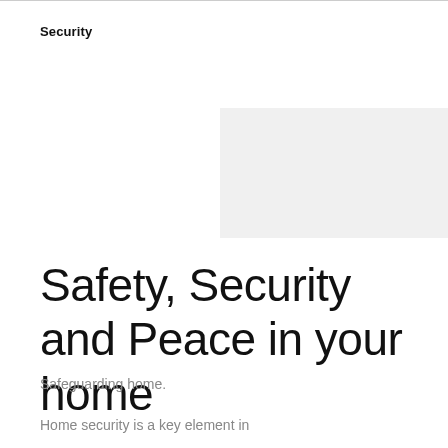Security
[Figure (photo): Gray placeholder image area representing a security-related photo]
Safety, Security and Peace in your home
Safeguarding home.
Home security is a key element in